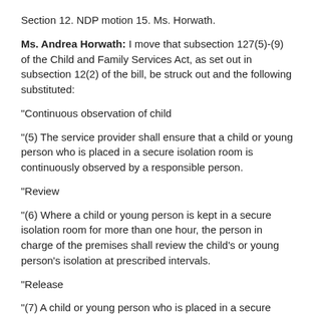Section 12. NDP motion 15. Ms. Horwath.
Ms. Andrea Horwath: I move that subsection 127(5)-(9) of the Child and Family Services Act, as set out in subsection 12(2) of the bill, be struck out and the following substituted:
"Continuous observation of child
"(5) The service provider shall ensure that a child or young person who is placed in a secure isolation room is continuously observed by a responsible person.
"Review
"(6) Where a child or young person is kept in a secure isolation room for more than one hour, the person in charge of the premises shall review the child's or young person's isolation at prescribed intervals.
"Release
"(7) A child or young person who is placed in a secure